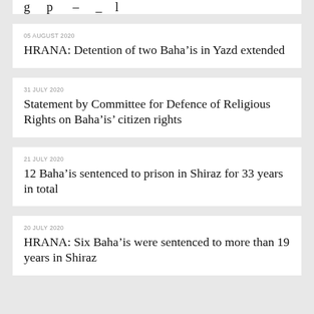(partial heading content cut off at top)
05 AUGUST 2020
HRANA: Detention of two Baha’is in Yazd extended
31 JULY 2020
Statement by Committee for Defence of Religious Rights on Baha’is’ citizen rights
21 JULY 2020
12 Baha’is sentenced to prison in Shiraz for 33 years in total
20 JULY 2020
HRANA: Six Baha’is were sentenced to more than 19 years in Shiraz